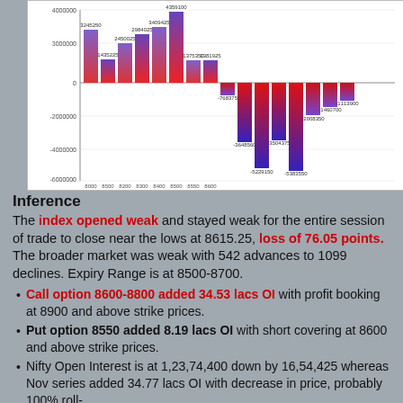[Figure (bar-chart): Nifty Options OI Change]
Inference
The index opened weak and stayed weak for the entire session of trade to close near the lows at 8615.25, loss of 76.05 points. The broader market was weak with 542 advances to 1099 declines. Expiry Range is at 8500-8700.
Call option 8600-8800 added 34.53 lacs OI with profit booking at 8900 and above strike prices.
Put option 8550 added 8.19 lacs OI with short covering at 8600 and above strike prices.
Nifty Open Interest is at 1,23,74,400 down by 16,54,425 whereas Nov series added 34.77 lacs OI with decrease in price, probably 100% roll-